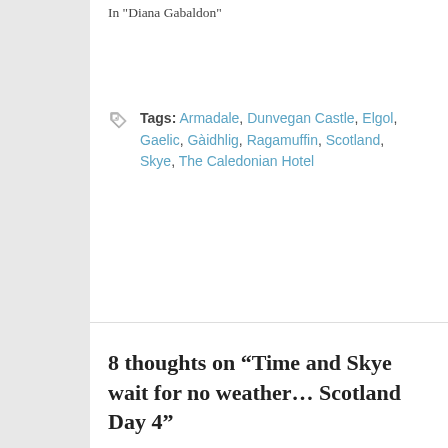In "Diana Gabaldon"
Tags: Armadale, Dunvegan Castle, Elgol, Gaelic, Gàidhlig, Ragamuffin, Scotland, Skye, The Caledonian Hotel
8 thoughts on “Time and Skye wait for no weather… Scotland Day 4”
Laura Carmichael (@LallybrochLaura)
October 6, 2014 at 8:56 PM
Loving your blog, Mandy – and love your new Knit-Bits to bits. Mrs. Fitz would be verra pleased, I'm sure!
Reply